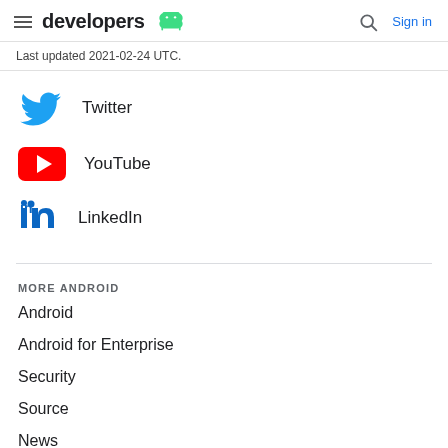developers [Android logo] | Search | Sign in
Last updated 2021-02-24 UTC.
Twitter
YouTube
LinkedIn
MORE ANDROID
Android
Android for Enterprise
Security
Source
News